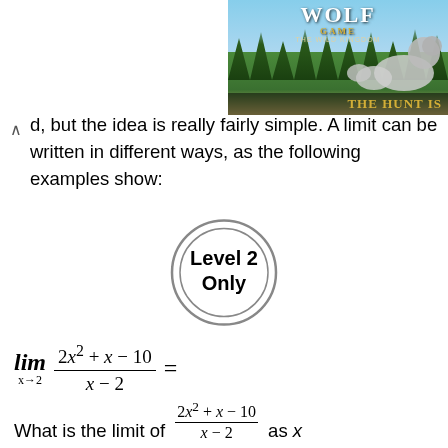[Figure (photo): Wolf Game advertisement banner showing wolves in a field with tagline THE HUNT IS]
d, but the idea is really fairly simple. A limit can be written in different ways, as the following examples show:
[Figure (other): Circle badge with text Level 2 Only]
What is the limit of (2x² + x - 10) / (x - 2) as x